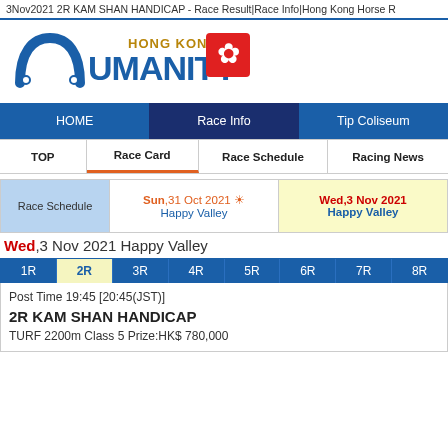3Nov2021 2R KAM SHAN HANDICAP - Race Result|Race Info|Hong Kong Horse R
[Figure (logo): Umanity Hong Kong logo with horseshoe icon and Hong Kong bauhinia flower emblem]
HOME | Race Info | Tip Coliseum
TOP | Race Card | Race Schedule | Racing News
Race Schedule | Sun,31 Oct 2021 Happy Valley | Wed,3 Nov 2021 Happy Valley
Wed,3 Nov 2021 Happy Valley
1R | 2R | 3R | 4R | 5R | 6R | 7R | 8R
Post Time 19:45 [20:45(JST)]
2R KAM SHAN HANDICAP
TURF 2200m Class 5 Prize:HK$ 780,000